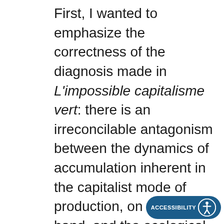First, I wanted to emphasize the correctness of the diagnosis made in L'impossible capitalisme vert: there is an irreconcilable antagonism between the dynamics of accumulation inherent in the capitalist mode of production, on the one hand, and the ecological limits of the planet, on the other. This antagonism is blindingly obvious when it comes to the question of the climate: on the one hand, renewable energies are expanding and the IPCC estimates that their technical potential can meet nearly twenty times human needs; on the other hand, the atmospheric concentration of CO2 (currently 415